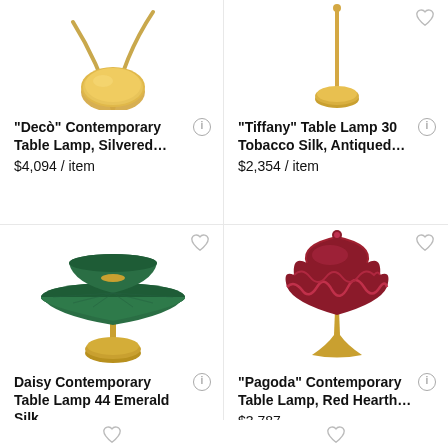[Figure (photo): Deco Contemporary Table Lamp, silvered, top view showing circular gold base and two curved arms, partially cropped]
"Decò" Contemporary Table Lamp, Silvered...
$4,094 / item
[Figure (photo): Tiffany Table Lamp 30 Tobacco Silk, Antiqued, top view showing thin gold stem and circular base, partially cropped]
"Tiffany" Table Lamp 30 Tobacco Silk, Antiqued...
$2,354 / item
[Figure (photo): Daisy Contemporary Table Lamp 44 Emerald Silk, full lamp with large green tiered shade and gold stem]
Daisy Contemporary Table Lamp 44 Emerald Silk...
$2,866 / item
[Figure (photo): Pagoda Contemporary Table Lamp, Red Hearth, full lamp with ruffled red shade and gold stem]
"Pagoda" Contemporary Table Lamp, Red Hearth...
$3,787